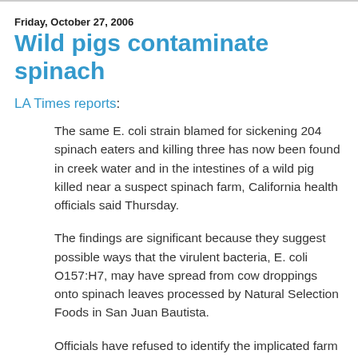Friday, October 27, 2006
Wild pigs contaminate spinach
LA Times reports:
The same E. coli strain blamed for sickening 204 spinach eaters and killing three has now been found in creek water and in the intestines of a wild pig killed near a suspect spinach farm, California health officials said Thursday.
The findings are significant because they suggest possible ways that the virulent bacteria, E. coli O157:H7, may have spread from cow droppings onto spinach leaves processed by Natural Selection Foods in San Juan Bautista.
Officials have refused to identify the implicated farm -- one of four they are focusing on -- but have said it is above cattle pastures in a valley in Monterey or San Benito county.